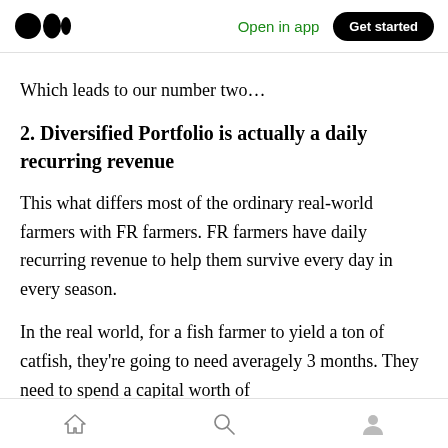Open in app  Get started
Which leads to our number two…
2. Diversified Portfolio is actually a daily recurring revenue
This what differs most of the ordinary real-world farmers with FR farmers. FR farmers have daily recurring revenue to help them survive every day in every season.
In the real world, for a fish farmer to yield a ton of catfish, they're going to need averagely 3 months. They need to spend a capital worth of
home  search  profile